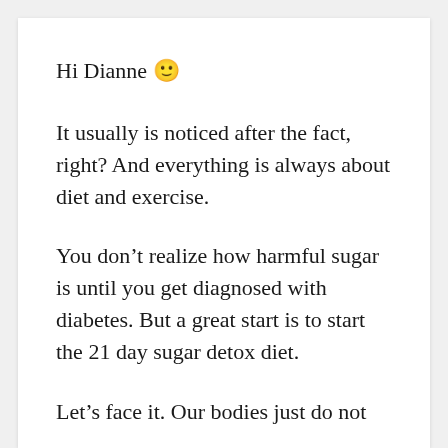Hi Dianne 🙂
It usually is noticed after the fact, right? And everything is always about diet and exercise.
You don't realize how harmful sugar is until you get diagnosed with diabetes. But a great start is to start the 21 day sugar detox diet.
Let's face it. Our bodies just do not